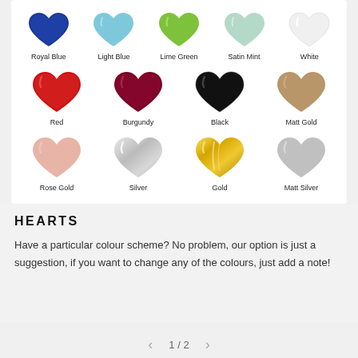[Figure (illustration): Grid of heart-shaped balloons in various colors: Row 1 (5 hearts): Royal Blue, Light Blue, Lime Green, Satin Mint, White. Row 2 (4 hearts): Red, Burgundy, Black, Matt Gold. Row 3 (4 hearts): Rose Gold, Silver, Gold, Matt Silver]
HEARTS
Have a particular colour scheme? No problem, our option is just a suggestion, if you want to change any of the colours, just add a note!
1 / 2